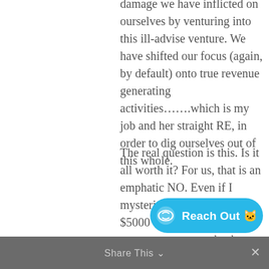damage we have inflicted on ourselves by venturing into this ill-advise venture. We have shifted our focus (again, by default) onto true revenue generating activities…….which is my job and her straight RE, in order to dig ourselves out of this whole.
The real question is this. Is it all worth it? For us, that is an emphatic NO. Even if I mysteriously closed 10 $5000 wholesale deals tomorrow to get us back to zero financially, we would still be in the hole with regard to effort, angst, can make much more money